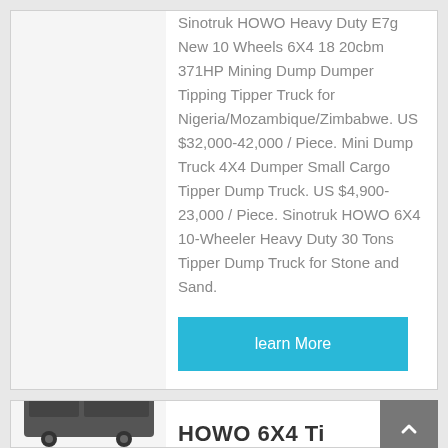Sinotruk HOWO Heavy Duty E7g New 10 Wheels 6X4 18 20cbm 371HP Mining Dump Dumper Tipping Tipper Truck for Nigeria/Mozambique/Zimbabwe. US $32,000-42,000 / Piece. Mini Dump Truck 4X4 Dumper Small Cargo Tipper Dump Truck. US $4,900-23,000 / Piece. Sinotruk HOWO 6X4 10-Wheeler Heavy Duty 30 Tons Tipper Dump Truck for Stone and Sand.
learn More
[Figure (photo): Partial image of a HOWO truck visible at bottom of page]
HOWO 6X4 Ti